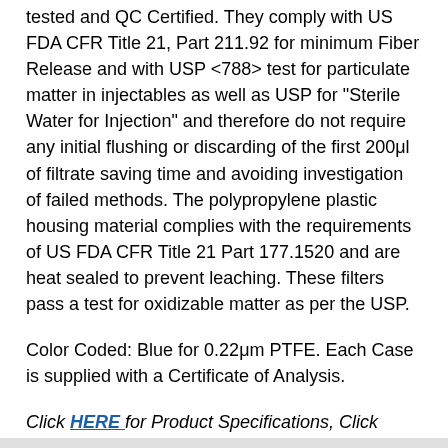tested and QC Certified. They comply with US FDA CFR Title 21, Part 211.92 for minimum Fiber Release and with USP <788> test for particulate matter in injectables as well as USP for "Sterile Water for Injection" and therefore do not require any initial flushing or discarding of the first 200μl of filtrate saving time and avoiding investigation of failed methods. The polypropylene plastic housing material complies with the requirements of US FDA CFR Title 21 Part 177.1520 and are heat sealed to prevent leaching. These filters pass a test for oxidizable matter as per the USP.
Color Coded: Blue for 0.22μm PTFE. Each Case is supplied with a Certificate of Analysis.
Click HERE for Product Specifications, Click HERE for 100 in a package quantity or Click HERE for 50 in a package quantity.
Click Here for Pricing